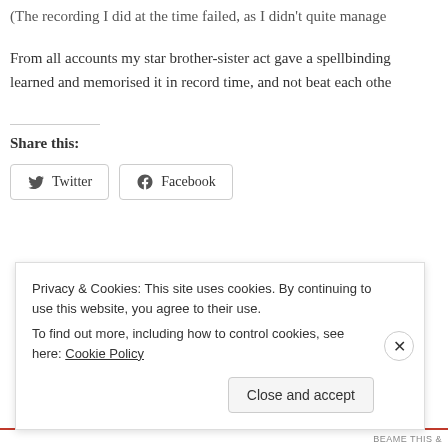(The recording I did at the time failed, as I didn't quite manage
From all accounts my star brother-sister act gave a spellbinding learned and memorised it in record time, and not beat each othe
Share this:
Twitter  Facebook
Privacy & Cookies: This site uses cookies. By continuing to use this website, you agree to their use.
To find out more, including how to control cookies, see here: Cookie Policy
Close and accept